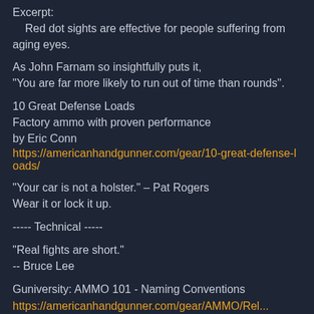Excerpt:
    Red dot sights are effective for people suffering from aging eyes.
As John Farnam so insightfully puts it,
"You are far more likely to run out of time than rounds".
10 Great Defense Loads
Factory ammo with proven performance
by Eric Conn
https://americanhandgunner.com/gear/10-great-defense-loads/
"Your car is not a holster." – Pat Rogers
Wear it or lock it up.
----- Technical -----
"Real fights are short."
-- Bruce Lee
Guniversity: AMMO 101 - Naming Conventions
https://...